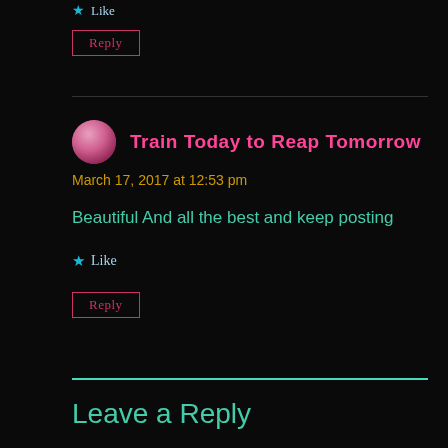★ Like
Reply
Train Today to Reap Tomorrow
March 17, 2017 at 12:53 pm
Beautiful And all the best and keep posting
★ Like
Reply
Leave a Reply